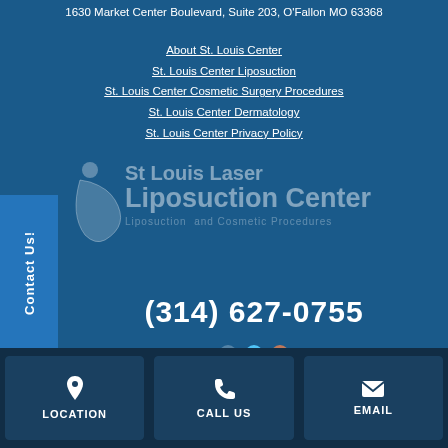1630 Market Center Boulevard, Suite 203, O'Fallon MO 63368
About St. Louis Center
St. Louis Center Liposuction
St. Louis Center Cosmetic Surgery Procedures
St. Louis Center Dermatology
St. Louis Center Privacy Policy
[Figure (logo): St Louis Laser Liposuction Center logo with stylized figure icon and text 'St Louis Laser Liposuction Center — Liposuction and Cosmetic Procedures']
(314) 627-0755
Contact Us!
LOCATION | CALL US | EMAIL